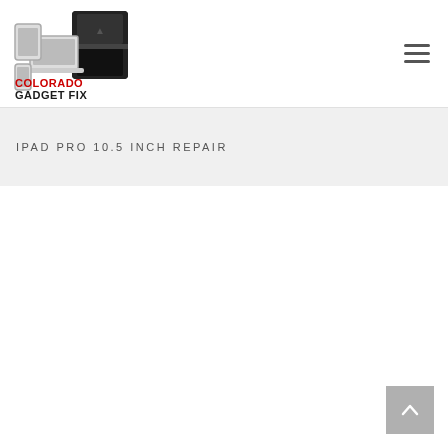[Figure (logo): Colorado Gadget Fix logo — devices (tablet, phone, laptop) beside a PS4 console, with red 'COLORADO' and dark 'GADGET FIX' text below]
IPAD PRO 10.5 INCH REPAIR